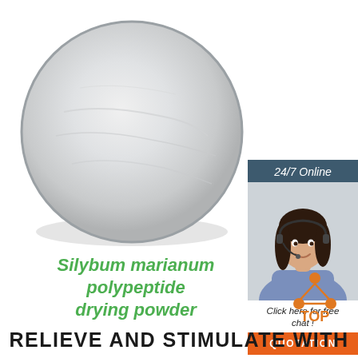[Figure (photo): White/light grey powder in a circular dish, viewed from above, on white background]
[Figure (infographic): 24/7 Online chat box with woman wearing headset, 'Click here for free chat!' text, and orange QUOTATION button]
Silybum marianum polypeptide drying powder
[Figure (logo): TOP logo with orange triangle/dots above the word TOP in orange]
RELIEVE AND STIMULATE WITH